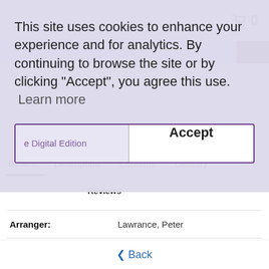[Figure (screenshot): Website top navigation bar with shopping cart icon showing 0 items]
This site uses cookies to enhance your experience and for analytics. By continuing to browse the site or by clicking "Accept", you agree this use.  Learn more
Accept
Details	Description	Contents	Delivery
Reviews
| Arranger: | Lawrance, Peter |
| Skill Level: | A/B ℹ |
< Back